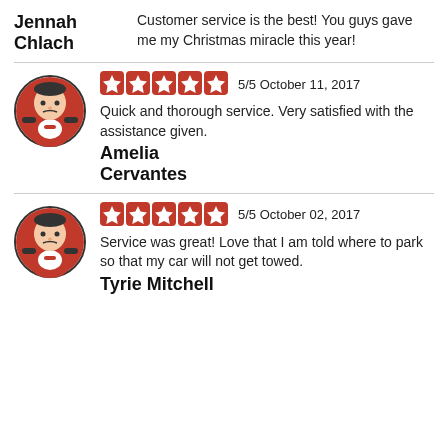Jennah Chlach — Customer service is the best! You guys gave me my Christmas miracle this year!
[Figure (illustration): Cartoon mechanic avatar in a circular badge, red and white color scheme]
5/5 October 11, 2017 — Quick and thorough service. Very satisfied with the assistance given.
Amelia Cervantes
[Figure (illustration): Cartoon mechanic avatar in a circular badge, red and white color scheme]
5/5 October 02, 2017 — Service was great! Love that I am told where to park so that my car will not get towed.
Tyrie Mitchell